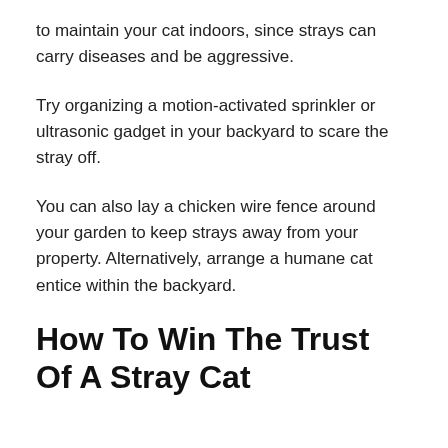to maintain your cat indoors, since strays can carry diseases and be aggressive.
Try organizing a motion-activated sprinkler or ultrasonic gadget in your backyard to scare the stray off.
You can also lay a chicken wire fence around your garden to keep strays away from your property. Alternatively, arrange a humane cat entice within the backyard.
How To Win The Trust Of A Stray Cat